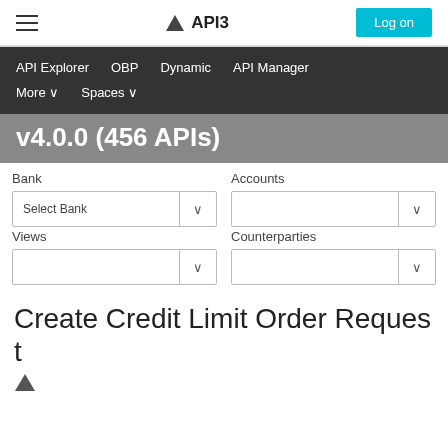API3 — Log on
API Explorer  OBP  Dynamic  API Manager  More ∨  Spaces ∨
v4.0.0 (456 APIs)
Bank
Accounts
Select Bank
Views
Counterparties
Create Credit Limit Order Request